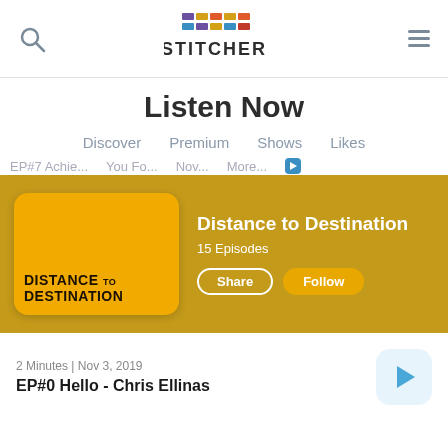Stitcher - Listen Now
Listen Now
Discover
Premium
Shows
Likes
[Figure (screenshot): Distance to Destination podcast banner with yellow/gold background, podcast cover art showing 'DISTANCE to DESTINATION' text, title 'Distance to Destination', '15 Episodes', Share and Follow buttons]
2 Minutes | Nov 3, 2019
EP#0 Hello - Chris Ellinas